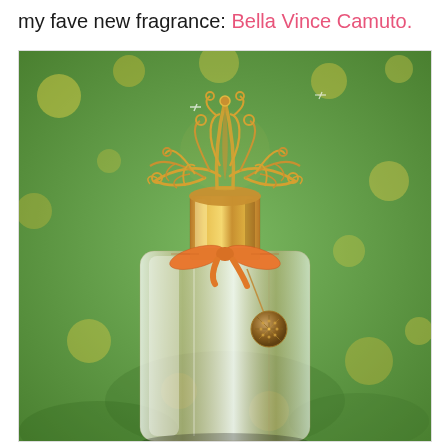my fave new fragrance: Bella Vince Camuto.
[Figure (photo): Close-up photo of a Bella Vince Camuto perfume bottle. The bottle has an ornate gold filigree crown-shaped cap, a gold cylindrical neck, an orange grosgrain ribbon bow tied around the neck with a small gold medallion charm hanging from it. The clear glass bottle body reflects light. The background shows blurred yellow flowers and green foliage (bokeh effect).]